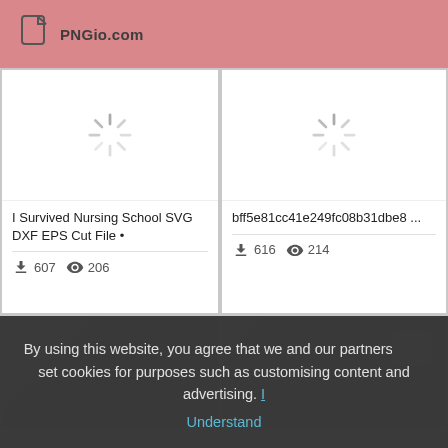PNGio.com
[Figure (screenshot): Card with loading spinner for 'I Survived Nursing School SVG DXF EPS Cut File', downloads: 607, views: 206]
I Survived Nursing School SVG DXF EPS Cut File •
607  206
[Figure (screenshot): Card with loading spinner for 'bff5e81cc41e249fc08b31dbe8...', downloads: 616, views: 214]
bff5e81cc41e249fc08b31dbe8 ...
616  214
[Figure (screenshot): Card with partial image in bottom-left, partially visible]
[Figure (screenshot): Card with partial image in bottom-right, partially visible]
By using this website, you agree that we and our partners may set cookies for purposes such as customising content and advertising. I
Understand